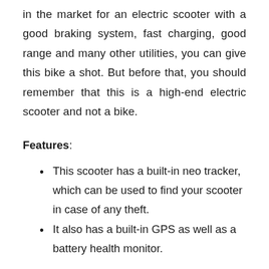in the market for an electric scooter with a good braking system, fast charging, good range and many other utilities, you can give this bike a shot. But before that, you should remember that this is a high-end electric scooter and not a bike.
Features:
This scooter has a built-in neo tracker, which can be used to find your scooter in case of any theft.
It also has a built-in GPS as well as a battery health monitor.